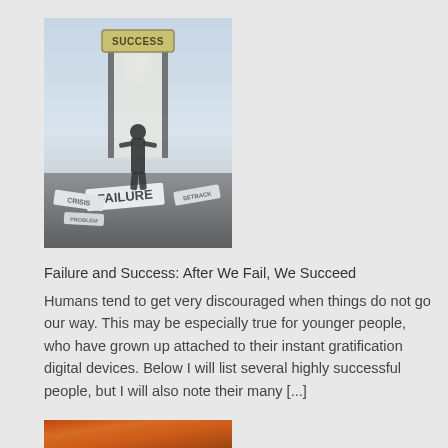[Figure (photo): A person standing on broken signs labeled 'FAILURE' and similar words, walking toward a glowing doorway with a 'SUCCESS' sign above it in a misty environment.]
Failure and Success: After We Fail, We Succeed
Humans tend to get very discouraged when things do not go our way. This may be especially true for younger people, who have grown up attached to their instant gratification digital devices. Below I will list several highly successful people, but I will also note their many [...]
[Figure (photo): Partial view of another image at the bottom of the page (cropped).]